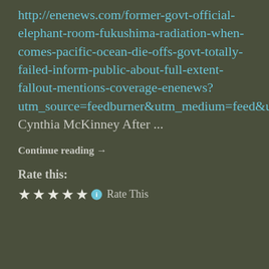http://enenews.com/former-govt-official-elephant-room-fukushima-radiation-when-comes-pacific-ocean-die-offs-govt-totally-failed-inform-public-about-full-extent-fallout-mentions-coverage-enenews?utm_source=feedburner&utm_medium=feed&utm_campaign=Feed%3A+ENENews+%28Energy+News%29 Cynthia McKinney After ...
Continue reading →
Rate this:
★★★★★ ℹ Rate This